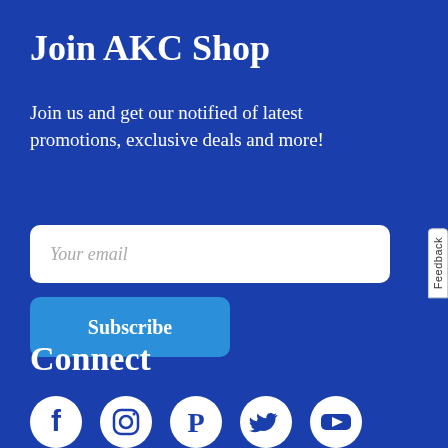Join AKC Shop
Join us and get our notified of latest promotions, exclusive deals and more!
[Figure (screenshot): Email input field with placeholder text 'Your email' and a blue 'Subscribe' button below it]
Connect
[Figure (infographic): Row of five social media icons: Facebook, Instagram, Pinterest, Twitter, YouTube — white circles on dark blue background]